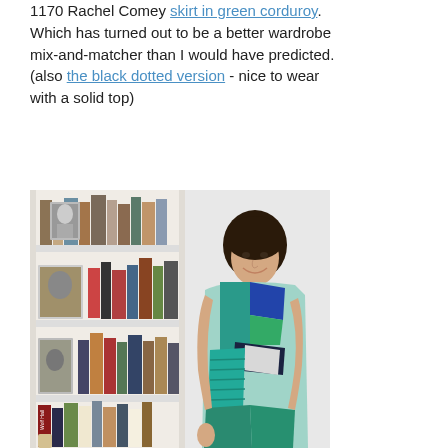1170 Rachel Comey skirt in green corduroy. Which has turned out to be a better wardrobe mix-and-matcher than I would have predicted. (also the black dotted version - nice to wear with a solid top)
[Figure (photo): A woman with short dark hair smiling and standing in front of a white bookshelf filled with books and framed photos. She is wearing a colorful geometric-print sleeveless top in teal, blue, green, and grey tones, and a teal green skirt.]